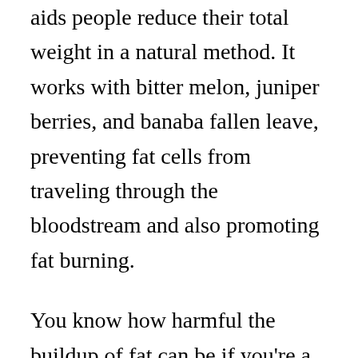aids people reduce their total weight in a natural method. It works with bitter melon, juniper berries, and banaba fallen leave, preventing fat cells from traveling through the bloodstream and also promoting fat burning.
You know how harmful the buildup of fat can be if you're a diabetic person. Not just can it damage your important organs, yet it can also lead to cardiovascular diseases and heart attacks. The good news is, Glucofort functions to avoid fat cells from traveling through the bloodstream as well as maintain blood glucose degrees within a